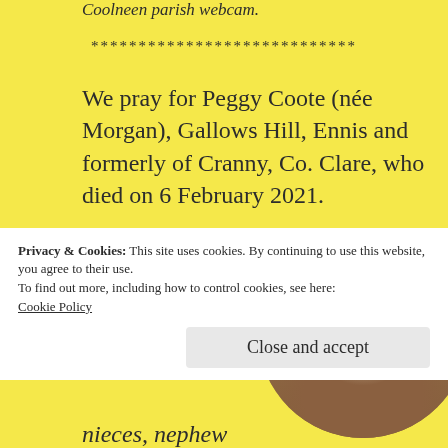Coolneen parish webcam.
****************************
We pray for Peggy Coote (née Morgan), Gallows Hill, Ennis and formerly of Cranny, Co. Clare, who died on 6 February 2021.
Peggy was the wife of the late Tony.
[Figure (photo): Circular cropped photo of an elderly woman with grey hair.]
Privacy & Cookies: This site uses cookies. By continuing to use this website, you agree to their use.
To find out more, including how to control cookies, see here:
Cookie Policy
Close and accept
nieces, nephew